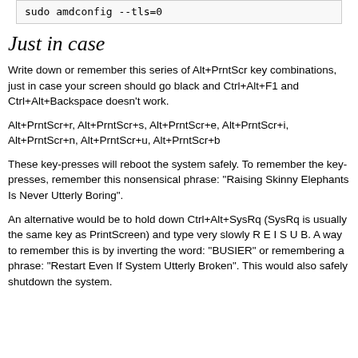sudo amdconfig --tls=0
Just in case
Write down or remember this series of Alt+PrntScr key combinations, just in case your screen should go black and Ctrl+Alt+F1 and Ctrl+Alt+Backspace doesn't work.
Alt+PrntScr+r, Alt+PrntScr+s, Alt+PrntScr+e, Alt+PrntScr+i, Alt+PrntScr+n, Alt+PrntScr+u, Alt+PrntScr+b
These key-presses will reboot the system safely. To remember the key-presses, remember this nonsensical phrase: "Raising Skinny Elephants Is Never Utterly Boring".
An alternative would be to hold down Ctrl+Alt+SysRq (SysRq is usually the same key as PrintScreen) and type very slowly R E I S U B. A way to remember this is by inverting the word: "BUSIER" or remembering a phrase: "Restart Even If System Utterly Broken". This would also safely shutdown the system.